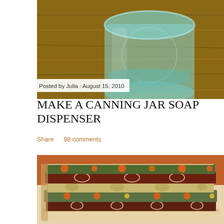[Figure (photo): Close-up photo of a glass canning jar with teal/green tinted glass on a wooden surface, viewed from above at an angle]
Posted by Julia · August 15, 2010
MAKE A CANNING JAR SOAP DISPENSER
Share    98 comments
[Figure (photo): Stack of folded fabric pieces with floral patterns in autumn colors — orange, red, brown, green, and cream — on a wooden surface with orange pumpkin in background]